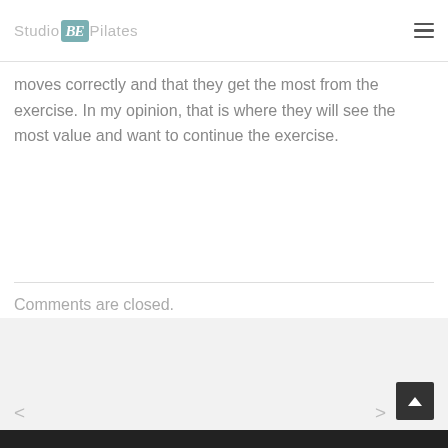Studio BE Pilates
moves correctly and that they get the most from the exercise. In my opinion, that is where they will see the most value and want to continue the exercise.
Comments are closed.
< >